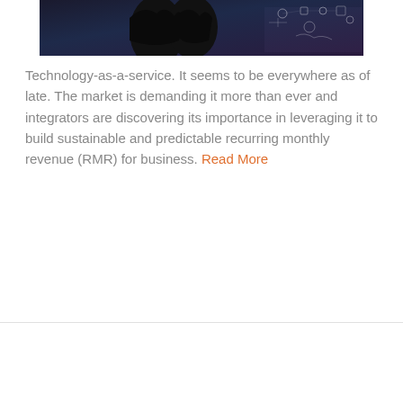[Figure (photo): Technology-themed image showing hands interacting with digital interface with icons and connectivity symbols on dark background]
Technology-as-a-service. It seems to be everywhere as of late. The market is demanding it more than ever and integrators are discovering its importance in leveraging it to build sustainable and predictable recurring monthly revenue (RMR) for business. Read More
Video | Is Technology-